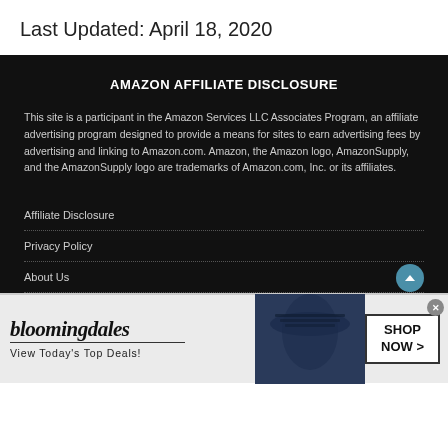Last Updated: April 18, 2020
AMAZON AFFILIATE DISCLOSURE
This site is a participant in the Amazon Services LLC Associates Program, an affiliate advertising program designed to provide a means for sites to earn advertising fees by advertising and linking to Amazon.com. Amazon, the Amazon logo, AmazonSupply, and the AmazonSupply logo are trademarks of Amazon.com, Inc. or its affiliates.
Affiliate Disclosure
Privacy Policy
About Us
[Figure (infographic): Bloomingdale's advertisement banner: 'View Today's Top Deals!' with SHOP NOW > call to action button and image of woman in hat]